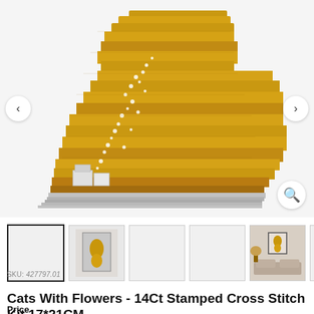[Figure (photo): Close-up of a cross-stitch embroidery showing an orange tabby cat sitting, with flower/floral elements in golden-brown and white tones on a white background, shown partially cropped]
[Figure (photo): Thumbnail row: first selected blank/white thumbnail, second thumbnail of orange cat cross-stitch, third blank thumbnail, fourth blank thumbnail, fifth thumbnail showing framed cat artwork in a living room setting, sixth blank thumbnail, seventh colorful thumbnail partially visible]
Cats With Flowers - 14Ct Stamped Cross Stitch Kit 17*21CM
SKU: 427797.01
Price